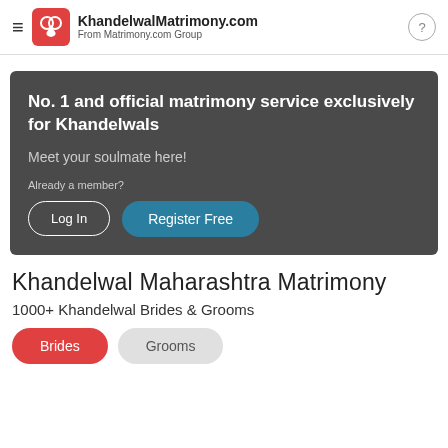KhandelwalMatrimony.com From Matrimony.com Group
[Figure (infographic): Dark grey banner with white text: No. 1 and official matrimony service exclusively for Khandelwals. Meet your soulmate here! Already a member? Log In and Register Free buttons.]
Khandelwal Maharashtra Matrimony
1000+ Khandelwal Brides & Grooms
Brides
Grooms